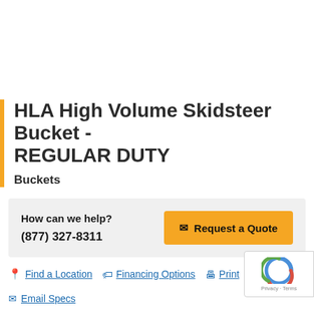HLA High Volume Skidsteer Bucket - REGULAR DUTY
Buckets
How can we help?
(877) 327-8311
Request a Quote
Find a Location | Financing Options | Print
Email Specs